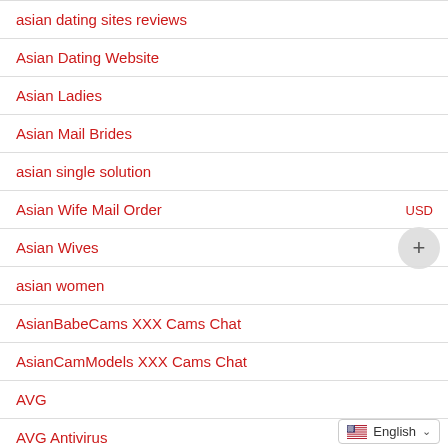asian dating sites reviews
Asian Dating Website
Asian Ladies
Asian Mail Brides
asian single solution
Asian Wife Mail Order
Asian Wives
asian women
AsianBabeCams XXX Cams Chat
AsianCamModels XXX Cams Chat
AVG
AVG Antivirus